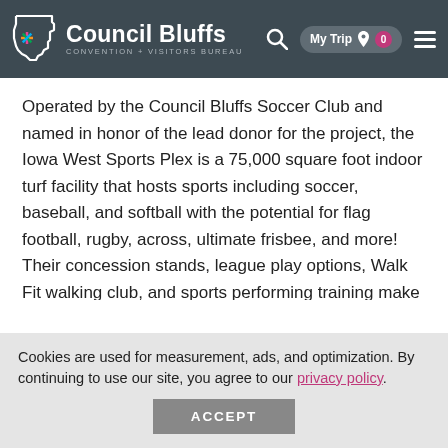Council Bluffs Convention + Visitors Bureau — My Trip 0
Operated by the Council Bluffs Soccer Club and named in honor of the lead donor for the project, the Iowa West Sports Plex is a 75,000 square foot indoor turf facility that hosts sports including soccer, baseball, and softball with the potential for flag football, rugby, across, ultimate frisbee, and more! Their concession stands, league play options, Walk Fit walking club, and sports performing training make this a lively and active place for local and visiting athletes.
Cookies are used for measurement, ads, and optimization. By continuing to use our site, you agree to our privacy policy.